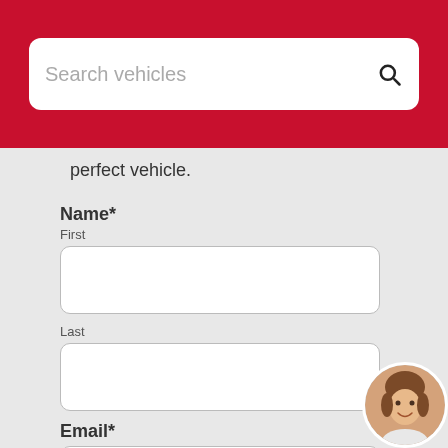Search vehicles
perfect vehicle.
Name*
First
Last
Email*
Phone
[Figure (photo): Avatar of a woman with short brown hair, smiling, shown in a circular frame in the bottom-right corner]